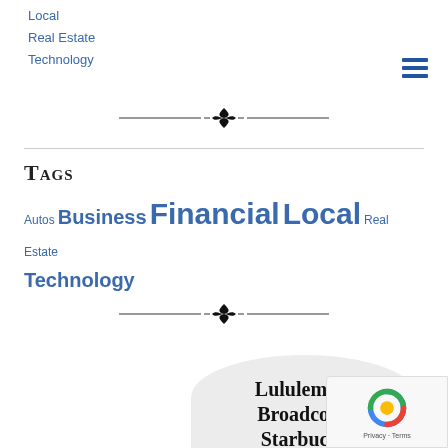Local
Real Estate
Technology
[Figure (illustration): Decorative ornamental divider with flourish]
Tags
Autos Business Financial Local Real Estate Technology
[Figure (illustration): Decorative ornamental divider with flourish]
Lululemon, Broadcom, Starbucks and more